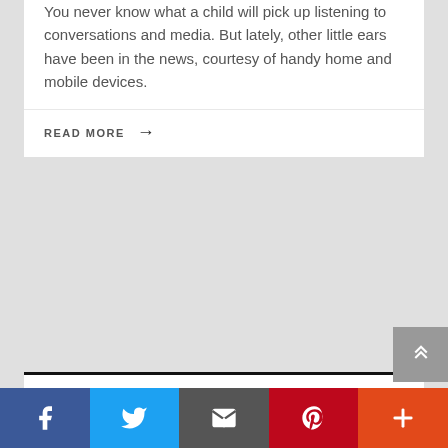You never know what a child will pick up listening to conversations and media. But lately, other little ears have been in the news, courtesy of handy home and mobile devices.
READ MORE →
UNCATEGORISED
Word&Way Privacy Policy
NOVEMBER 29, 2018 / AUTHOR: KEN SATTERFIELD
Updated: 12-05-18 Terms and ConditionsPrivacy Policy Your access to and use of the Word&Way Web Site ("Site") is subject to the following terms and conditions and all applicable laws. By accessing and browsing the Site, you agree to and are bound by these Terms and Conditions